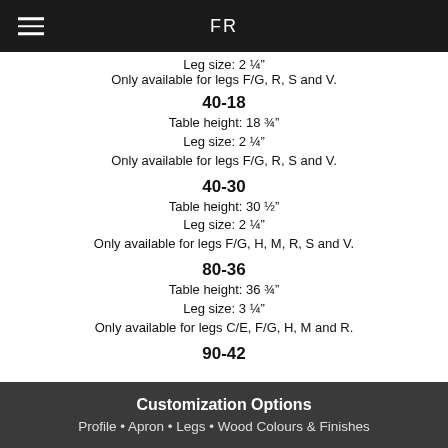FR
Leg size: 2 ¼"
Only available for legs F/G, R, S and V.
40-18
Table height: 18 ¾"
Leg size: 2 ¼"
Only available for legs F/G, R, S and V.
40-30
Table height: 30 ½"
Leg size: 2 ¼"
Only available for legs F/G, H, M, R, S and V.
80-36
Table height: 36 ¾"
Leg size: 3 ¼"
Only available for legs C/E, F/G, H, M and R.
90-42
Customization Options
Profile • Apron • Legs • Wood Colours & Finishes